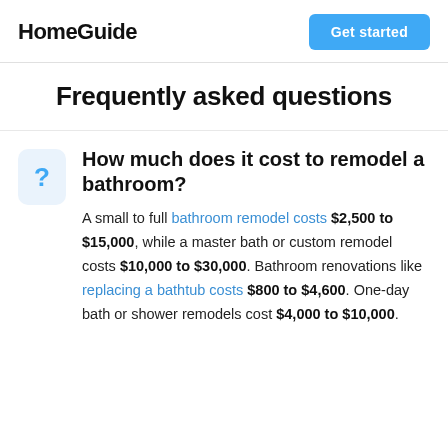HomeGuide | Get started
Frequently asked questions
How much does it cost to remodel a bathroom?
A small to full bathroom remodel costs $2,500 to $15,000, while a master bath or custom remodel costs $10,000 to $30,000. Bathroom renovations like replacing a bathtub costs $800 to $4,600. One-day bath or shower remodels cost $4,000 to $10,000.